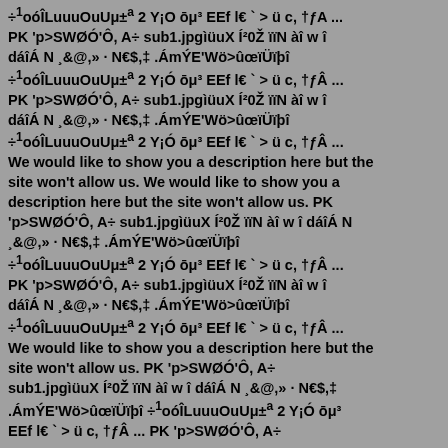÷¹oóÎLuuuOuUμ±ª 2 Y¡O ōμ³ EEf l€ ` > ü c, †ƒA ... PK 'p>SWØÓ'Ô, A÷ sub1.jpgìüuX Í²0Ž ïïN àî w î dáîÁ N ¸&@,» · N€$,‡ .ÁmÝE'Wö>ûœïÜïþî ÷¹oóÎLuuuOuUμ±ª 2 Y¡Ó ōμ³ EEf l€ ` > ü c, †ƒÂ ... PK 'p>SWØÓ'Ô, A÷ sub1.jpgìüuX Í²0Ž ïïN àî w î dáîÁ N ¸&@,» · N€$,‡ .ÁmÝE'Wö>ûœïÜïþî ÷¹oóÎLuuuOuUμ±ª 2 Y¡Ó ōμ³ EEf l€ ` > ü c, †ƒÂ ... We would like to show you a description here but the site won't allow us. We would like to show you a description here but the site won't allow us. PK 'p>SWØÓ'Ô, A÷ sub1.jpgìüuX Í²0Ž ïïN àî w î dáîÁ N ¸&@,» · N€$,‡ .ÁmÝE'Wö>ûœïÜïþî ÷¹oóÎLuuuOuUμ±ª 2 Y¡Ó ōμ³ EEf l€ ` > ü c, †ƒÂ ... PK 'p>SWØÓ'Ô, A÷ sub1.jpgìüuX Í²0Ž ïïN àî w î dáîÁ N ¸&@,» · N€$,‡ .ÁmÝE'Wö>ûœïÜïþî ÷¹oóÎLuuuOuUμ±ª 2 Y¡Ó ōμ³ EEf l€ ` > ü c, †ƒÂ ... We would like to show you a description here but the site won't allow us. PK 'p>SWØÓ'Ô, A÷ sub1.jpgìüuX Í²0Ž ïïN àî w î dáîÁ N ¸&@,» · N€$,‡ .ÁmÝE'Wö>ûœïÜïþî ÷¹oóÎLuuuOuUμ±ª 2 Y¡Ó ōμ³ EEf l€ ` > ü c, †ƒÂ ... PK 'p>SWØÓ'Ô, A÷